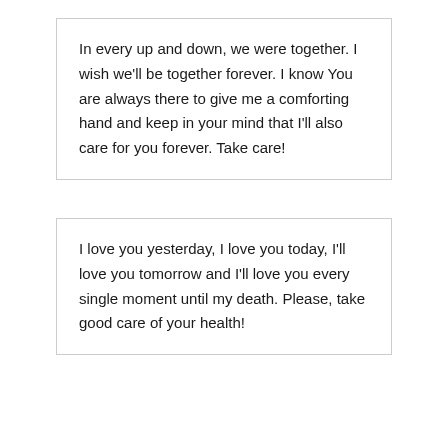In every up and down, we were together. I wish we'll be together forever. I know You are always there to give me a comforting hand and keep in your mind that I'll also care for you forever. Take care!
I love you yesterday, I love you today, I'll love you tomorrow and I'll love you every single moment until my death. Please, take good care of your health!